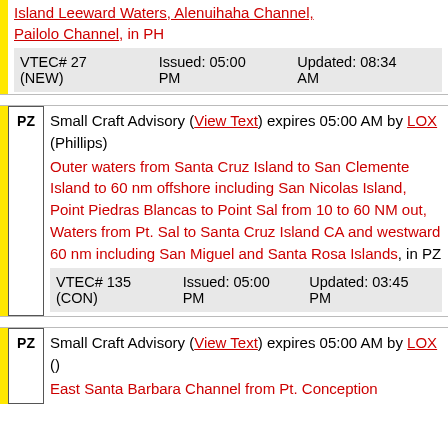Island Leeward Waters, Alenuihaha Channel, Pailolo Channel, in PH
VTEC# 27 (NEW)  Issued: 05:00 PM  Updated: 08:34 AM
Small Craft Advisory (View Text) expires 05:00 AM by LOX (Phillips)
Outer waters from Santa Cruz Island to San Clemente Island to 60 nm offshore including San Nicolas Island, Point Piedras Blancas to Point Sal from 10 to 60 NM out, Waters from Pt. Sal to Santa Cruz Island CA and westward 60 nm including San Miguel and Santa Rosa Islands, in PZ
VTEC# 135 (CON)  Issued: 05:00 PM  Updated: 03:45 PM
Small Craft Advisory (View Text) expires 05:00 AM by LOX ()
East Santa Barbara Channel from Pt. Conception